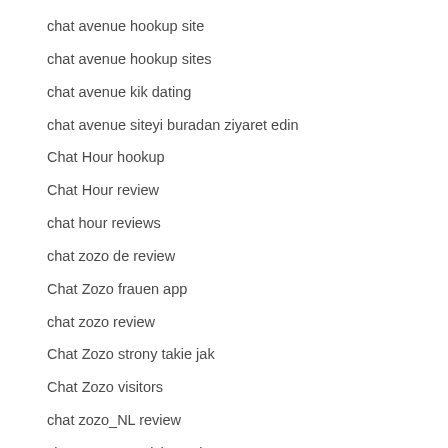chat avenue hookup site
chat avenue hookup sites
chat avenue kik dating
chat avenue siteyi buradan ziyaret edin
Chat Hour hookup
Chat Hour review
chat hour reviews
chat zozo de review
Chat Zozo frauen app
chat zozo review
Chat Zozo strony takie jak
Chat Zozo visitors
chat zozo_NL review
chat-zozo-overzicht Dating
chatango Chiacchierare